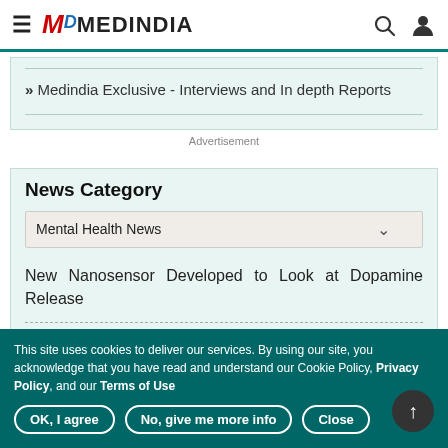MEDINDIA
» Medindia Exclusive - Interviews and In depth Reports
Advertisement
News Category
Mental Health News
New Nanosensor Developed to Look at Dopamine Release
Can Random Acts of Kindness Increase Happiness
This site uses cookies to deliver our services. By using our site, you acknowledge that you have read and understand our Cookie Policy, Privacy Policy, and our Terms of Use